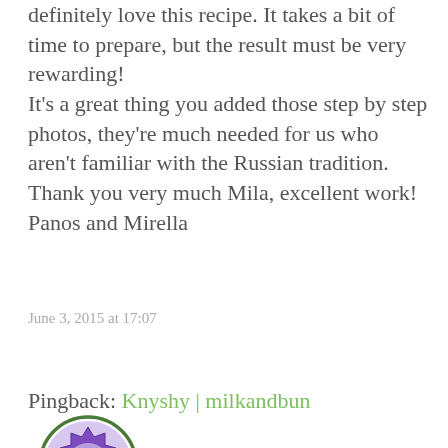definitely love this recipe. It takes a bit of time to prepare, but the result must be very rewarding! It's a great thing you added those step by step photos, they're much needed for us who aren't familiar with the Russian tradition. Thank you very much Mila, excellent work! Panos and Mirella
June 3, 2015 at 17:07
« REPLY
Pingback: Knyshy | milkandbun
[Figure (illustration): Circular avatar image with a purple monster/creature icon on a light purple background, bordered by a dark green circle.]